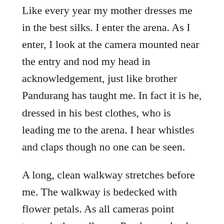Like every year my mother dresses me in the best silks. I enter the arena. As I enter, I look at the camera mounted near the entry and nod my head in acknowledgement, just like brother Pandurang has taught me. In fact it is he, dressed in his best clothes, who is leading me to the arena. I hear whistles and claps though no one can be seen.
A long, clean walkway stretches before me. The walkway is bedecked with flower petals. As all cameras point towards the walkway, Pandurang leads me along the red carpet. I walk majestically behind him, my head held high. As we reach the end of the walkway, Pandurang turns around. As I follow him, I see other fellow runners,  walking behind me.